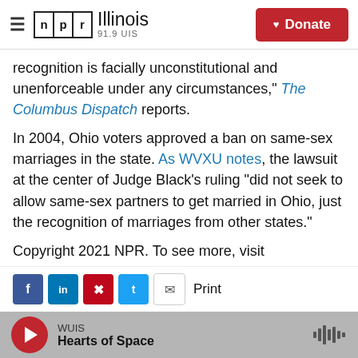NPR Illinois 91.9 UIS | Donate
recognition is facially unconstitutional and unenforceable under any circumstances," The Columbus Dispatch reports.
In 2004, Ohio voters approved a ban on same-sex marriages in the state. As WVXU notes, the lawsuit at the center of Judge Black's ruling "did not seek to allow same-sex partners to get married in Ohio, just the recognition of marriages from other states."
Copyright 2021 NPR. To see more, visit https://www.npr.org.
WUIS | Hearts of Space